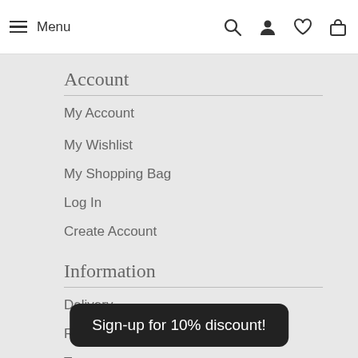Menu (with hamburger icon and search, user, wishlist, bag icons)
Account
My Account
My Wishlist
My Shopping Bag
Log In
Create Account
Information
Delivery
Retur…
Term…
Sign-up for 10% discount!